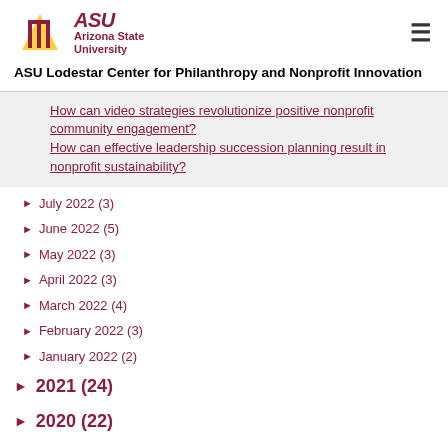ASU Arizona State University
ASU Lodestar Center for Philanthropy and Nonprofit Innovation
How can video strategies revolutionize positive nonprofit community engagement?
How can effective leadership succession planning result in nonprofit sustainability?
July 2022 (3)
June 2022 (5)
May 2022 (3)
April 2022 (3)
March 2022 (4)
February 2022 (3)
January 2022 (2)
2021 (24)
2020 (22)
2019 (37)
2018 (49)